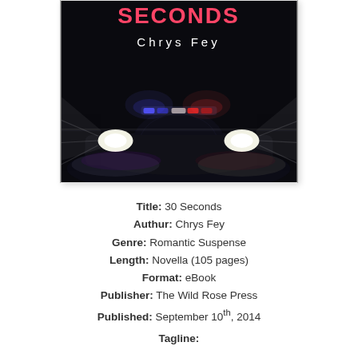[Figure (illustration): Book cover for '30 Seconds' by Chrys Fey. Dark background with a police car silhouette, red and blue lights on top, bright white headlights shining forward. Title 'SECONDS' visible at top in pink/red text, author name 'Chrys Fey' in white below it.]
Title: 30 Seconds
Authur: Chrys Fey
Genre: Romantic Suspense
Length: Novella (105 pages)
Format: eBook
Publisher: The Wild Rose Press
Published: September 10th, 2014
Tagline: